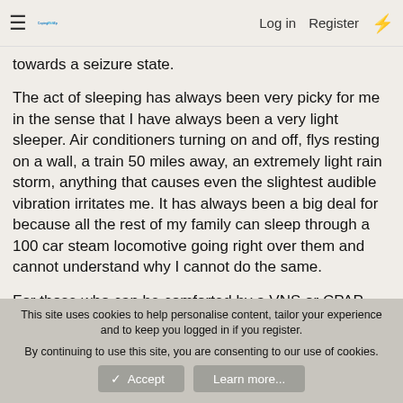≡ CopingWithEpilepsy | Log in | Register | ⚡
towards a seizure state.
The act of sleeping has always been very picky for me in the sense that I have always been a very light sleeper. Air conditioners turning on and off, flys resting on a wall, a train 50 miles away, an extremely light rain storm, anything that causes even the slightest audible vibration irritates me. It has always been a big deal for because all the rest of my family can sleep through a 100 car steam locomotive going right over them and cannot understand why I cannot do the same.
For those who can be comforted by a VNS or CPAP, etc. then I shall hope and pray that they make efforts towards using them as every little bit helps but for me, it is more hassle than it is worth.
This site uses cookies to help personalise content, tailor your experience and to keep you logged in if you register.
By continuing to use this site, you are consenting to our use of cookies.